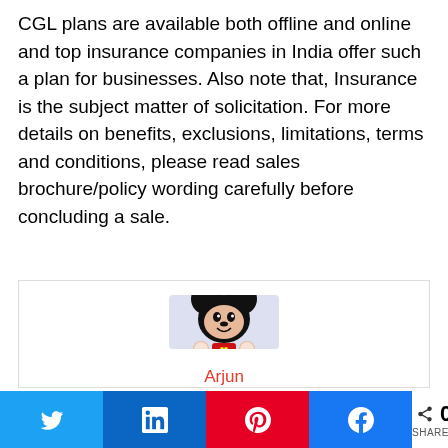CGL plans are available both offline and online and top insurance companies in India offer such a plan for businesses. Also note that, Insurance is the subject matter of solicitation. For more details on benefits, exclusions, limitations, terms and conditions, please read sales brochure/policy wording carefully before concluding a sale.
[Figure (illustration): Author card with a Mickey Mouse avatar image on a lavender background, and author name 'Arjun' in red text below]
[Figure (infographic): Social share bar with Twitter, LinkedIn, Pinterest, Facebook buttons and a share count showing 0 SHARES]